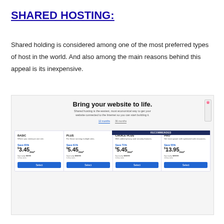SHARED HOSTING:
Shared holding is considered among one of the most preferred types of host in the world. And also among the main reasons behind this appeal is its inexpensive.
[Figure (screenshot): Screenshot of a web hosting pricing page titled 'Bring your website to life.' showing four shared hosting plans: BASIC ($3.45/mo), PLUS ($5.45/mo), CHOICE PLUS ($5.45/mo, recommended), and PRO ($13.95/mo) with Save percentages and Select buttons.]